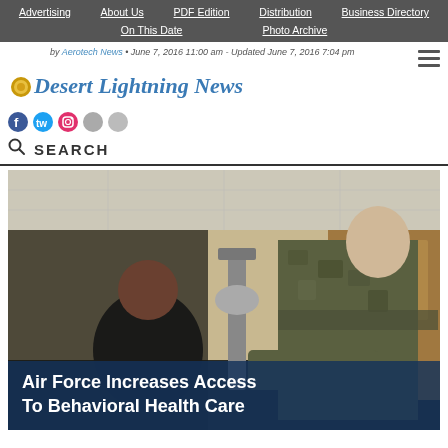Advertising | About Us | PDF Edition | Distribution | Business Directory | On This Date | Photo Archive
by Aerotech News • June 7, 2016 11:00 am - Updated June 7, 2016 7:04 pm
Desert Lightning News
SEARCH
[Figure (photo): An Air Force service member in camouflage uniform leans over and assists a seated patient in a medical room, with medical equipment visible in the background. Overlay text reads 'Air Force Increases Access To Behavioral Health Care'.]
Air Force Increases Access To Behavioral Health Care